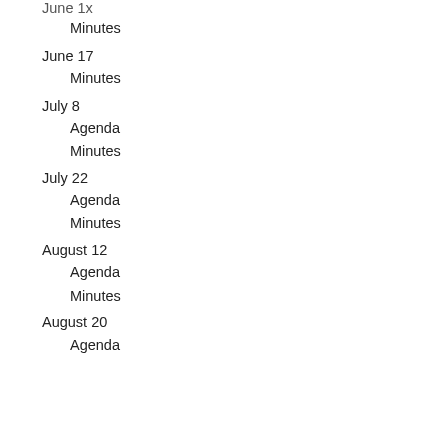June 1x (partial, top clipped)
Minutes
June 17
Minutes
July 8
Agenda
Minutes
July 22
Agenda
Minutes
August 12
Agenda
Minutes
August 20
Agenda